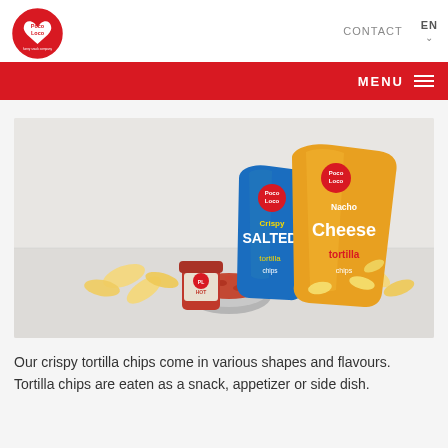Poco Loco — CONTACT  EN  MENU
[Figure (photo): Poco Loco brand product photo showing two bags of tortilla chips (Crispy Salted and Nacho Cheese flavors), a jar of hot salsa, a bowl of salsa, and scattered tortilla chips on a light grey surface.]
Our crispy tortilla chips come in various shapes and flavours. Tortilla chips are eaten as a snack, appetizer or side dish.